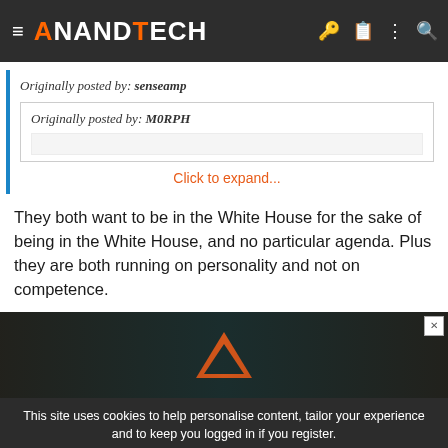AnandTech
Originally posted by: senseamp
Originally posted by: M0RPH
Click to expand...
They both want to be in the White House for the sake of being in the White House, and no particular agenda. Plus they are both running on personality and not on competence.
This site uses cookies to help personalise content, tailor your experience and to keep you logged in if you register. By continuing to use this site, you are consenting to our use of cookies.
[Figure (screenshot): TechLeadership Awards 2022 advertisement banner at the bottom of the page]